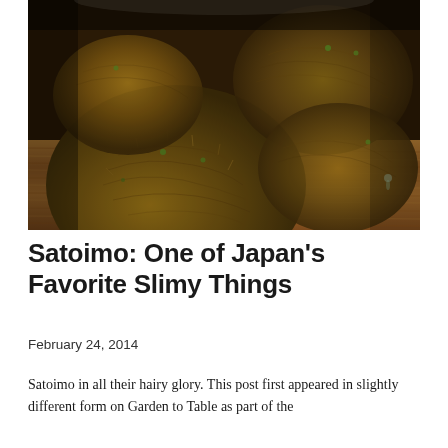[Figure (photo): Close-up photograph of several satoimo (taro root) tubers with rough hairy brown skin, resting on a wooden cutting board surface.]
Satoimo: One of Japan's Favorite Slimy Things
February 24, 2014
Satoimo in all their hairy glory. This post first appeared in slightly different form on Garden to Table as part of the